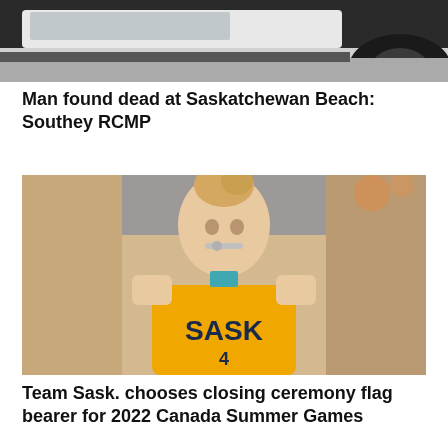[Figure (photo): Partial view of a vehicle, showing the underside and wheel area, dark tones with grey background.]
Man found dead at Saskatchewan Beach: Southey RCMP
[Figure (photo): A smiling young woman in a gold Saskatchewan (SASK) basketball jersey biting a medal at what appears to be an indoor sports arena.]
Team Sask. chooses closing ceremony flag bearer for 2022 Canada Summer Games